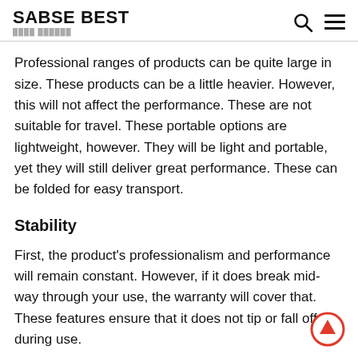SABSE BEST
Professional ranges of products can be quite large in size. These products can be a little heavier. However, this will not affect the performance. These are not suitable for travel. These portable options are lightweight, however. They will be light and portable, yet they will still deliver great performance. These can be folded for easy transport.
Stability
First, the product's professionalism and performance will remain constant. However, if it does break mid-way through your use, the warranty will cover that. These features ensure that it does not tip or fall off during use.